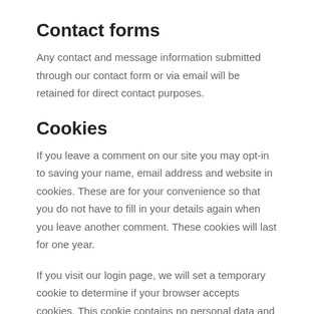Contact forms
Any contact and message information submitted through our contact form or via email will be retained for direct contact purposes.
Cookies
If you leave a comment on our site you may opt-in to saving your name, email address and website in cookies. These are for your convenience so that you do not have to fill in your details again when you leave another comment. These cookies will last for one year.
If you visit our login page, we will set a temporary cookie to determine if your browser accepts cookies. This cookie contains no personal data and is discarded when you close your browser.
When you log in, we will also set up several cookies to save your